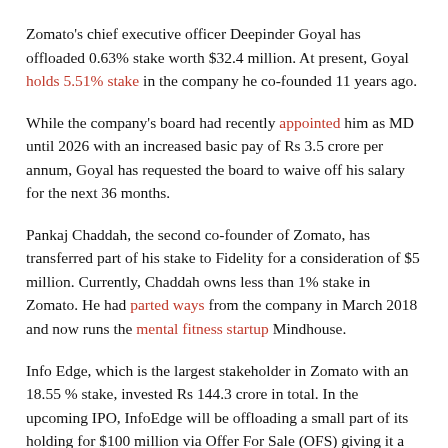Zomato's chief executive officer Deepinder Goyal has offloaded 0.63% stake worth $32.4 million. At present, Goyal holds 5.51% stake in the company he co-founded 11 years ago.
While the company's board had recently appointed him as MD until 2026 with an increased basic pay of Rs 3.5 crore per annum, Goyal has requested the board to waive off his salary for the next 36 months.
Pankaj Chaddah, the second co-founder of Zomato, has transferred part of his stake to Fidelity for a consideration of $5 million. Currently, Chaddah owns less than 1% stake in Zomato. He had parted ways from the company in March 2018 and now runs the mental fitness startup Mindhouse.
Info Edge, which is the largest stakeholder in Zomato with an 18.55 % stake, invested Rs 144.3 crore in total. In the upcoming IPO, InfoEdge will be offloading a small part of its holding for $100 million via Offer For Sale (OFS) giving it a bumper return on its early bet in Zomato.